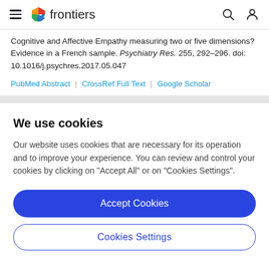frontiers
Cognitive and Affective Empathy measuring two or five dimensions? Evidence in a French sample. Psychiatry Res. 255, 292–296. doi: 10.1016/j.psychres.2017.05.047
PubMed Abstract | CrossRef Full Text | Google Scholar
We use cookies
Our website uses cookies that are necessary for its operation and to improve your experience. You can review and control your cookies by clicking on "Accept All" or on "Cookies Settings".
Accept Cookies
Cookies Settings